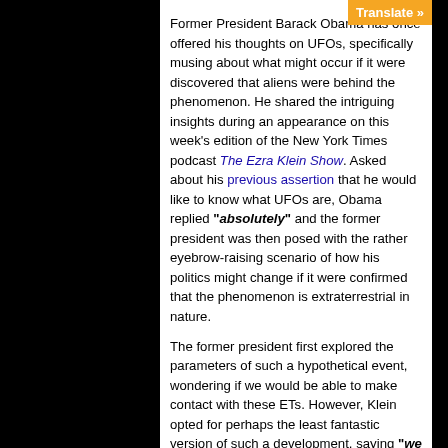Former President Barack Obama has once offered his thoughts on UFOs, specifically musing about what might occur if it were discovered that aliens were behind the phenomenon. He shared the intriguing insights during an appearance on this week's edition of the New York Times podcast The Ezra Klein Show. Asked about his previous assertion that he would like to know what UFOs are, Obama replied "absolutely" and the former president was then posed with the rather eyebrow-raising scenario of how his politics might change if it were confirmed that the phenomenon is extraterrestrial in nature.
The former president first explored the parameters of such a hypothetical event, wondering if we would be able to make contact with these ETs. However, Klein opted for perhaps the least fantastic version of such a development, saying "we can't get in touch. We just know we're not alone and someone's been here." Within that framework, which Obama called "interesting," he indicated that a proverbial alien disclosure would not change his politics as the aliens were there...